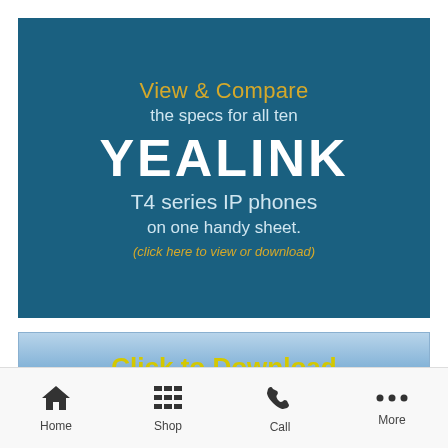[Figure (infographic): Dark teal banner advertising Yealink T4 series IP phones with text: View & Compare the specs for all ten YEALINK T4 series IP phones on one handy sheet. (click here to view or download)]
Click to Download
Home  Shop  Call  More